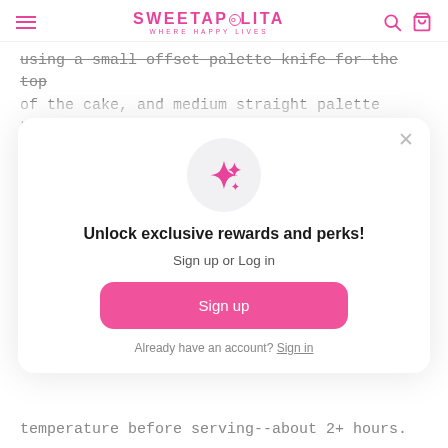SWEETAPOLITA WHERE HAPPY LIVES
using a small offset palette knife for the top of the cake, and medium straight palette knife for the sides, cover the cake in a thin layer of chocolate frosting (or chocolate buttercream, if using) to mask (seal in
[Figure (screenshot): Modal popup with sparkle icon, title 'Unlock exclusive rewards and perks!', subtitle 'Sign up or Log in', a pink Sign up button, and a 'Already have an account? Sign in' link. Close X button in top right.]
temperature before serving--about 2+ hours.